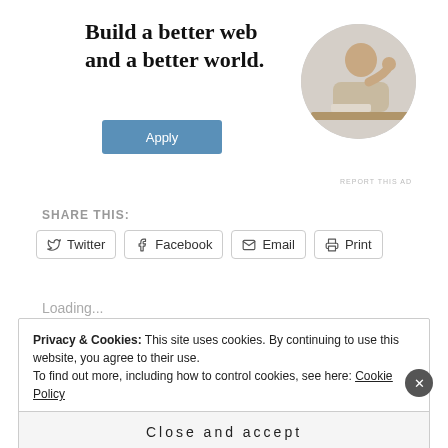[Figure (illustration): Advertisement banner with bold text 'Build a better web and a better world.' and an Apply button, plus a circular photo of a man thinking at a desk]
REPORT THIS AD
SHARE THIS:
Twitter
Facebook
Email
Print
Loading...
Privacy & Cookies: This site uses cookies. By continuing to use this website, you agree to their use.
To find out more, including how to control cookies, see here: Cookie Policy
Close and accept